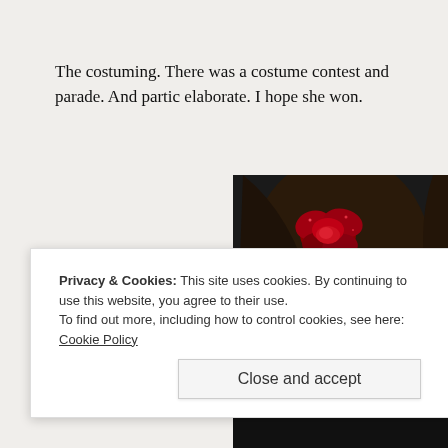The costuming. There was a costume contest and parade. And partic elaborate. I hope she won.
[Figure (photo): Close-up photo of a woman with Day of the Dead sugar skull makeup — white face paint with a large red rose hair accessory, black and red eye decoration around the eye, gold hoop earring visible, dark hair, black clothing.]
Privacy & Cookies: This site uses cookies. By continuing to use this website, you agree to their use.
To find out more, including how to control cookies, see here: Cookie Policy
Close and accept